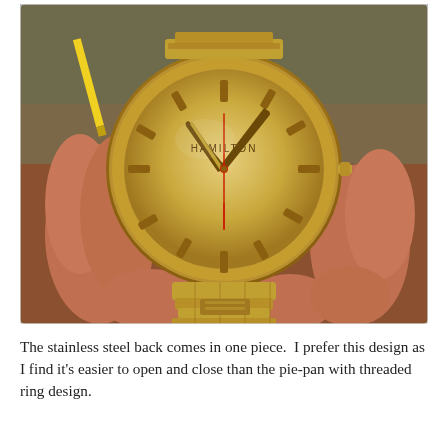[Figure (photo): Close-up photo of a vintage Hamilton gold-toned wristwatch being held between fingers. The watch has a round gold dial with baton hour markers, no numerals, the Hamilton brand name visible near the top of the dial, gold hands, and a red seconds hand. The watch sits on a gold-colored expansion bracelet. The background shows a workbench with tools including a yellow pencil.]
The stainless steel back comes in one piece.  I prefer this design as I find it's easier to open and close than the pie-pan with threaded ring design.